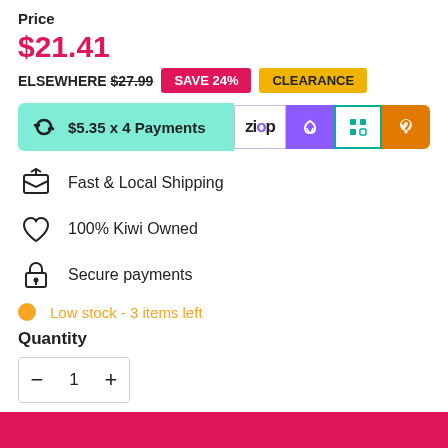Price
$21.41
ELSEWHERE $27.99  SAVE 24%  CLEARANCE
$5.35 x 4 Payments
Fast & Local Shipping
100% Kiwi Owned
Secure payments
Low stock - 3 items left
Quantity
1